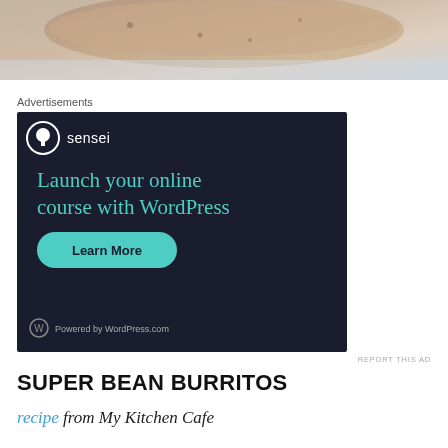[Figure (photo): Close-up photo of a burrito or wrapped food item on a plate, partially cropped]
Advertisements
[Figure (screenshot): Advertisement for Sensei plugin: 'Launch your online course with WordPress' with a Learn More button and 'Powered by WordPress.com' footer on dark background]
REPORT THIS AD
SUPER BEAN BURRITOS
recipe from My Kitchen Cafe